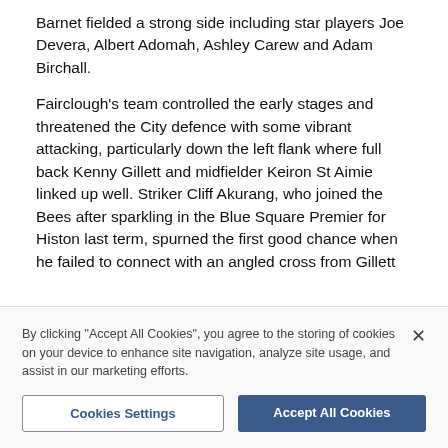Barnet fielded a strong side including star players Joe Devera, Albert Adomah, Ashley Carew and Adam Birchall.
Fairclough's team controlled the early stages and threatened the City defence with some vibrant attacking, particularly down the left flank where full back Kenny Gillett and midfielder Keiron St Aimie linked up well. Striker Cliff Akurang, who joined the Bees after sparkling in the Blue Square Premier for Histon last term, spurned the first good chance when he failed to connect with an angled cross from Gillett
By clicking "Accept All Cookies", you agree to the storing of cookies on your device to enhance site navigation, analyze site usage, and assist in our marketing efforts.
Cookies Settings
Accept All Cookies